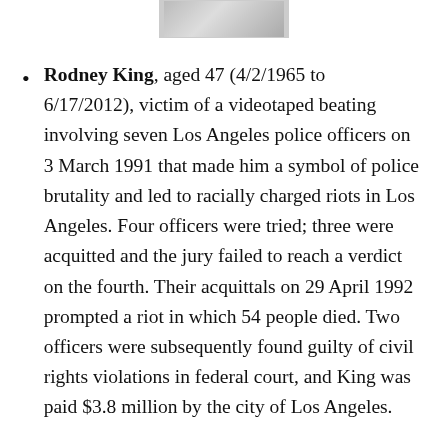[Figure (photo): Partial photo visible at top of page, cropped]
Rodney King, aged 47 (4/2/1965 to 6/17/2012), victim of a videotaped beating involving seven Los Angeles police officers on 3 March 1991 that made him a symbol of police brutality and led to racially charged riots in Los Angeles. Four officers were tried; three were acquitted and the jury failed to reach a verdict on the fourth. Their acquittals on 29 April 1992 prompted a riot in which 54 people died. Two officers were subsequently found guilty of civil rights violations in federal court, and King was paid $3.8 million by the city of Los Angeles.